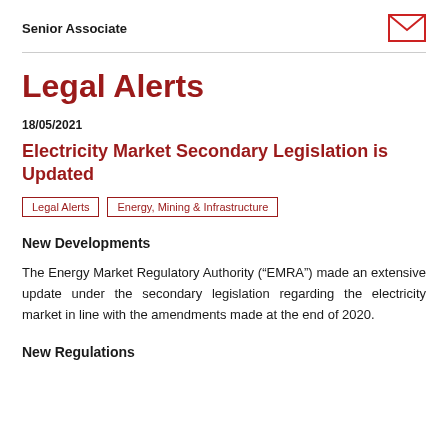Senior Associate
Legal Alerts
18/05/2021
Electricity Market Secondary Legislation is Updated
Legal Alerts | Energy, Mining & Infrastructure
New Developments
The Energy Market Regulatory Authority (“EMRA”) made an extensive update under the secondary legislation regarding the electricity market in line with the amendments made at the end of 2020.
New Regulations